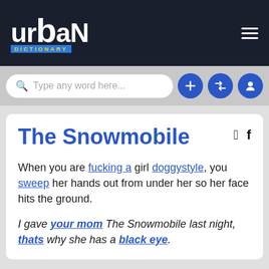Urban Dictionary
[Figure (screenshot): Urban Dictionary search bar with Type any word here... placeholder and blue action buttons (plus, shuffle, user)]
The Snowmobile
When you are fucking a girl doggystyle, you sweep her hands out from under her so her face hits the ground.
I gave your mom The Snowmobile last night, thats why she has a black eye.